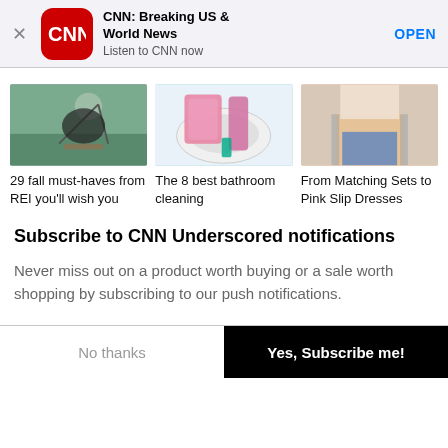[Figure (screenshot): CNN app banner with red CNN logo icon, app name 'CNN: Breaking US & World News', subtitle 'Listen to CNN now', and OPEN button]
[Figure (photo): Person at a campsite with a hammock or camping chair setup near water]
[Figure (photo): Pink rubber gloved hands cleaning a toilet with a brush]
[Figure (photo): Woman in jeans and crop top fashion]
29 fall must-haves from REI you'll wish you
The 8 best bathroom cleaning
From Matching Sets to Pink Slip Dresses
Subscribe to CNN Underscored notifications
Never miss out on a product worth buying or a sale worth shopping by subscribing to our push notifications.
No thanks
Yes, Subscribe me!